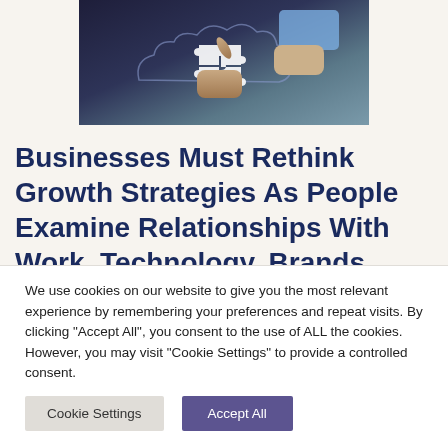[Figure (photo): Aerial view of hands working on a large puzzle over a dark background with cloud-shaped puzzle outline, business collaboration concept]
Businesses Must Rethink Growth Strategies As People Examine Relationships With Work, Technology, Brands and the Planet
We use cookies on our website to give you the most relevant experience by remembering your preferences and repeat visits. By clicking "Accept All", you consent to the use of ALL the cookies. However, you may visit "Cookie Settings" to provide a controlled consent.